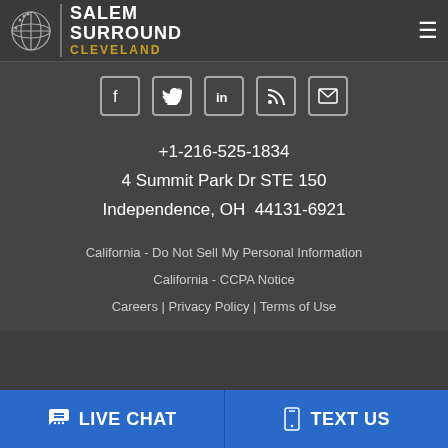[Figure (logo): Salem Surround Cleveland logo with globe icon and text]
[Figure (infographic): Social media icons: Facebook, Twitter, LinkedIn, RSS feed, Email]
+1-216-525-1834
4 Summit Park Dr STE 150
Independence, OH  44131-6921
California - Do Not Sell My Personal Information
California - CCPA Notice
Careers | Privacy Policy | Terms of Use
[Figure (infographic): Social media icons: Facebook, Twitter, LinkedIn]
LIVE CHAT
TEXT US